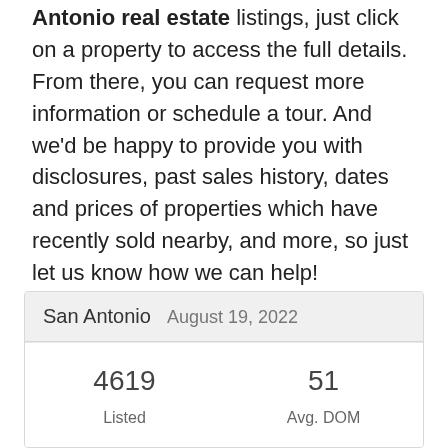if you would like more information on any of these San Antonio real estate listings, just click on a property to access the full details. From there, you can request more information or schedule a tour. And we'd be happy to provide you with disclosures, past sales history, dates and prices of properties which have recently sold nearby, and more, so just let us know how we can help!
And, for your convenience, feel free to register for a free account to receive email alerts whenever new San Antonio listings come on the market that match your specific criteria.
| San Antonio  August 19, 2022 |  |
| --- | --- |
| 4619
Listed | 51
Avg. DOM |